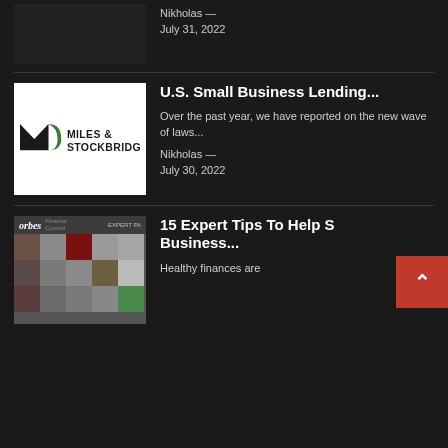Nikholas — July 31, 2022
[Figure (other): Dark cropped image at top of page]
U.S. Small Business Lending...
Over the past year, we have reported on the new wave of laws...
Nikholas — July 30, 2022
[Figure (logo): Miles & Stockbridge law firm logo on white background]
15 Expert Tips To Help Small Business...
Healthy finances are
[Figure (photo): Forbes Finance Council Expert Panel article thumbnail showing a grid of headshots]